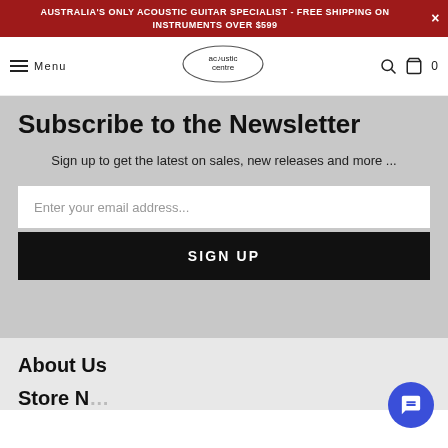AUSTRALIA'S ONLY ACOUSTIC GUITAR SPECIALIST - FREE SHIPPING ON INSTRUMENTS OVER $599
[Figure (logo): Acoustic Centre logo with circular emblem and text 'acoustic centre']
Subscribe to the Newsletter
Sign up to get the latest on sales, new releases and more ...
Enter your email address...
SIGN UP
About Us
Store N...